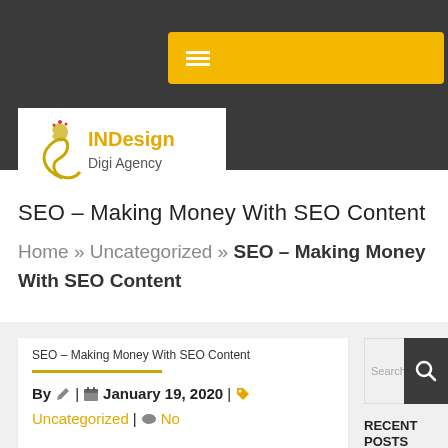INDesign Digi Agency
SEO – Making Money With SEO Content
Home » Uncategorized » SEO – Making Money With SEO Content
SEO – Making Money With SEO Content
By | January 19, 2020 | Uncategorized | No
RECENT POSTS